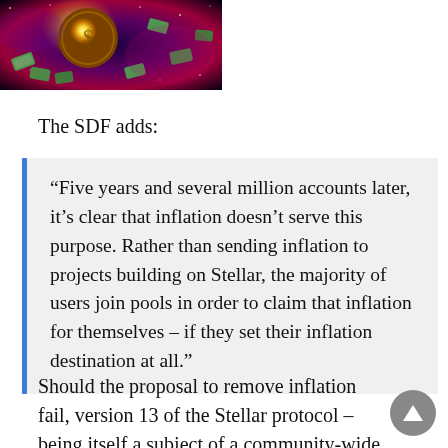[Figure (photo): Colorful space-themed image with a glowing coin and money flying in a dark galaxy background]
The SDF adds:
“Five years and several million accounts later, it’s clear that inflation doesn’t serve this purpose. Rather than sending inflation to projects building on Stellar, the majority of users join pools in order to claim that inflation for themselves – if they set their inflation destination at all.”
Should the proposal to remove inflation fail, version 13 of the Stellar protocol – being itself a subject of a community-wide vote – will reinclude it.